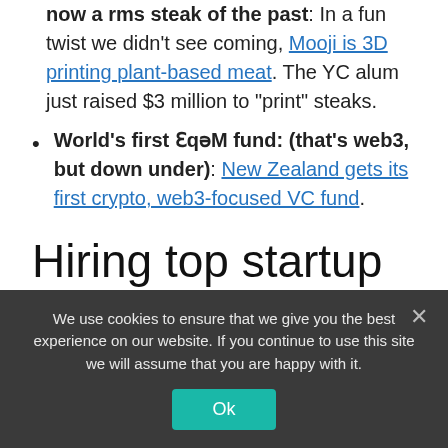now a rms steak of the past. In a fun twist we didn't see coming, Mooji is 3D printing plant-based meat. The YC alum just raised $3 million to “print” steaks.
World’s first Ɛqəm fund: (that’s web3, but down under): New Zealand gets its first crypto, web3-focused VC fund.
Hiring top startup talent on a budget
We use cookies to ensure that we give you the best experience on our website. If you continue to use this site we will assume that you are happy with it.